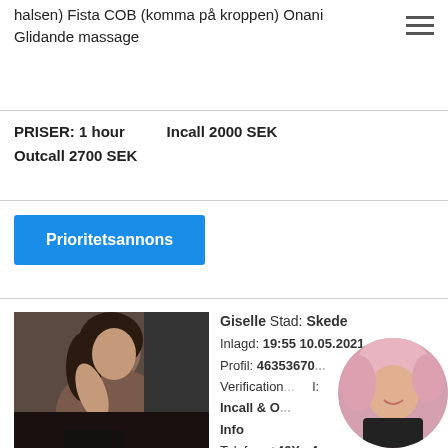halsen) Fista COB (komma på kroppen) Onani Glidande massage
PRISER: 1 hour   Incall 2000 SEK
Outcall 2700 SEK
Prioritetsannons
[Figure (photo): Portrait photo of a woman]
Giselle Stad: Skede
Inlagd: 19:55 10.05.2021
Profil: 46353670...
Verification...
Incall & O...
Info
Telefon: +46X...4
Ålder: 25
[Figure (photo): Circular cropped portrait photo of a woman with pink/blonde hair]